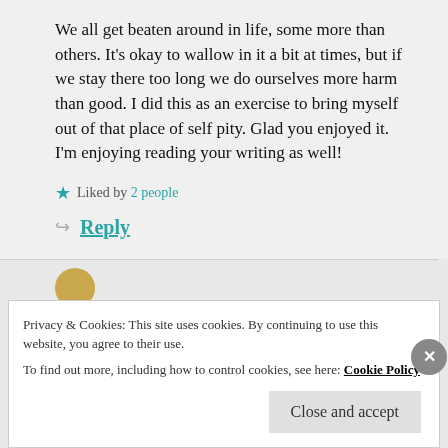We all get beaten around in life, some more than others. It's okay to wallow in it a bit at times, but if we stay there too long we do ourselves more harm than good. I did this as an exercise to bring myself out of that place of self pity. Glad you enjoyed it. I'm enjoying reading your writing as well!
Liked by 2 people
Reply
Privacy & Cookies: This site uses cookies. By continuing to use this website, you agree to their use. To find out more, including how to control cookies, see here: Cookie Policy
Close and accept